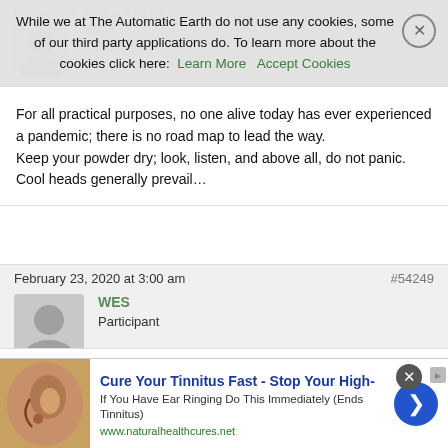While we at The Automatic Earth do not use any cookies, some of our third party applications do. To learn more about the cookies click here: Learn More   Accept Cookies
Participant
For all practical purposes, no one alive today has ever experienced a pandemic; there is no road map to lead the way.
Keep your powder dry; look, listen, and above all, do not panic.
Cool heads generally prevail…
February 23, 2020 at 3:00 am
#54249
WES
Participant
Dear Nurse Sally: You can start to learn to Maxim number of tales...
[Figure (photo): Ad banner: ear image with text 'Cure Your Tinnitus Fast - Stop Your High-' and URL www.naturalhealthcures.net]